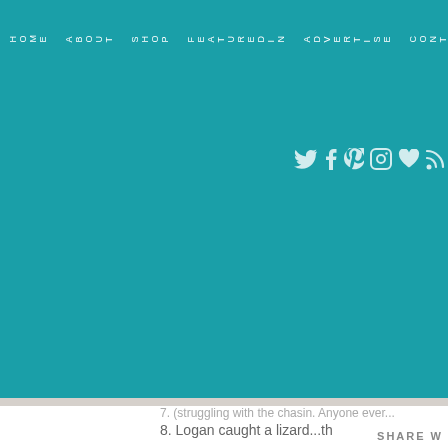[Figure (other): Teal blog header navigation with vertical text menu items: HOME, ABOUT, SHOP, FEATUREDIN, ADVERTISE, CONTACT, LIKETOKNOW.IT and social media icons (Twitter, Facebook, Pinterest, Instagram, heart, RSS feed)]
7. (partially visible) ...struggling with the chasin. Anyone ever...
8. Logan caught a lizard...th
So, how was your weekend
Cheers to taking time to slow
[Figure (illustration): Handwritten XO in coral/red and cursive signature starting with 'Sha']
SHARE W